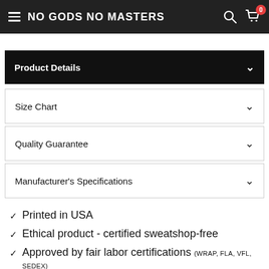NO GODS NO MASTERS
Product Details
Size Chart
Quality Guarantee
Manufacturer's Specifications
Printed in USA
Ethical product - certified sweatshop-free
Approved by fair labor certifications (WRAP, FLA, VFL, SEDEX)